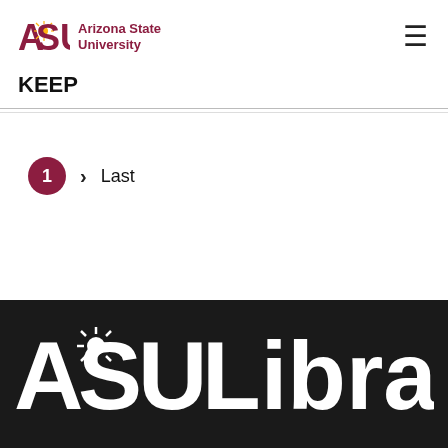[Figure (logo): Arizona State University logo with maroon ASU text and sunburst icon, followed by 'Arizona State University' text in maroon]
KEEP
1 > Last
[Figure (logo): ASU Library footer logo in white on dark background]